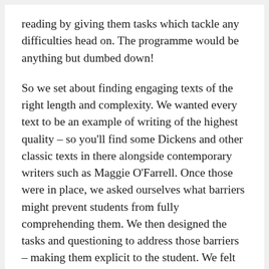reading by giving them tasks which tackle any difficulties head on. The programme would be anything but dumbed down!
So we set about finding engaging texts of the right length and complexity. We wanted every text to be an example of writing of the highest quality – so you'll find some Dickens and other classic texts in there alongside contemporary writers such as Maggie O'Farrell. Once those were in place, we asked ourselves what barriers might prevent students from fully comprehending them. We then designed the tasks and questioning to address those barriers – making them explicit to the student. We felt that it was important to be honest: if you're not a good reader, then a Dickens sentence